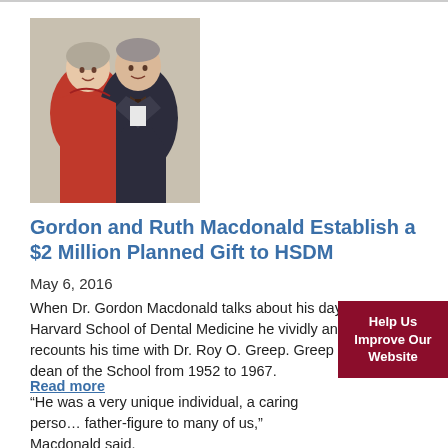[Figure (photo): Photo of Gordon and Ruth Macdonald, an older couple smiling, woman in red top and man in dark suit with bow tie]
Gordon and Ruth Macdonald Establish a $2 Million Planned Gift to HSDM
May 6, 2016
When Dr. Gordon Macdonald talks about his days at the Harvard School of Dental Medicine he vividly and fondly recounts his time with Dr. Roy O. Greep. Greep served as dean of the School from 1952 to 1967.
“He was a very unique individual, a caring person, a father-figure to many of us,” Macdonald said.
Help Us Improve Our Website
Read more